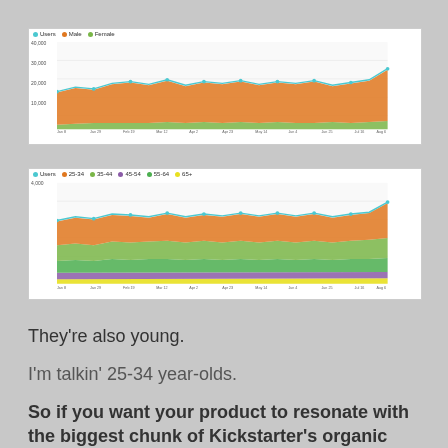[Figure (area-chart): Stacked area chart showing Users, Male, and Female counts over time]
[Figure (area-chart): Stacked area chart showing Users by age groups over time]
They’re also young.
I’m talkin’ 25-34 year-olds.
So if you want your product to resonate with the biggest chunk of Kickstarter’s organic audience,